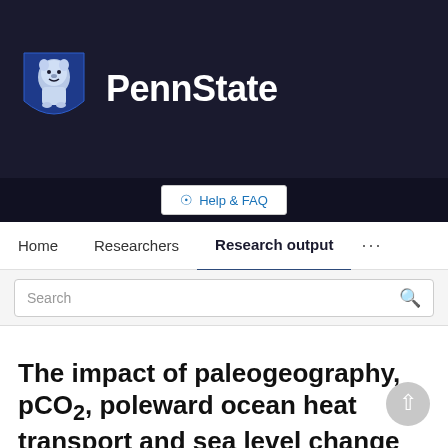[Figure (logo): Penn State University logo with lion shield and 'PennState' text on dark background]
Help & FAQ
Home   Researchers   Research output   ...
Search
The impact of paleogeography, pCO₂, poleward ocean heat transport and sea level change on global cooling during the Late